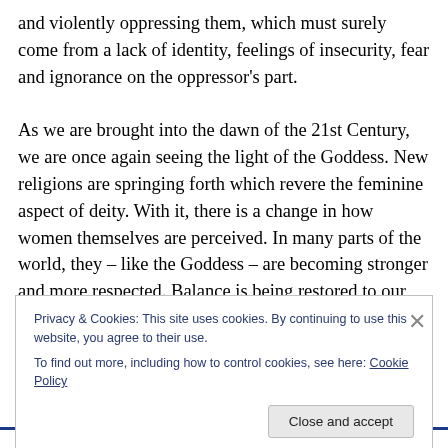and violently oppressing them, which must surely come from a lack of identity, feelings of insecurity, fear and ignorance on the oppressor's part.
As we are brought into the dawn of the 21st Century, we are once again seeing the light of the Goddess. New religions are springing forth which revere the feminine aspect of deity. With it, there is a change in how women themselves are perceived. In many parts of the world, they – like the Goddess – are becoming stronger and more respected. Balance is being restored to our consciousness, and this can only be a good thing. Venus,
Privacy & Cookies: This site uses cookies. By continuing to use this website, you agree to their use.
To find out more, including how to control cookies, see here: Cookie Policy